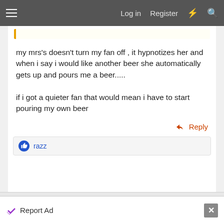Log in  Register
my mrs's doesn't turn my fan off , it hypnotizes her and when i say i would like another beer she automatically gets up and pours me a beer.....

if i got a quieter fan that would mean i have to start pouring my own beer
Reply
razz
18/5/22  #6,414
ozdevil
Report Ad